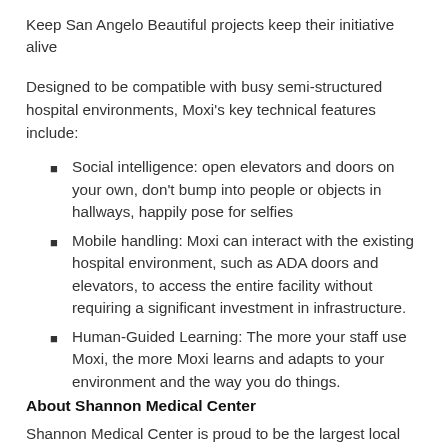Keep San Angelo Beautiful projects keep their initiative alive
Designed to be compatible with busy semi-structured hospital environments, Moxi's key technical features include:
Social intelligence: open elevators and doors on your own, don't bump into people or objects in hallways, happily pose for selfies
Mobile handling: Moxi can interact with the existing hospital environment, such as ADA doors and elevators, to access the entire facility without requiring a significant investment in infrastructure.
Human-Guided Learning: The more your staff use Moxi, the more Moxi learns and adapts to your environment and the way you do things.
About Shannon Medical Center
Shannon Medical Center is proud to be the largest local health